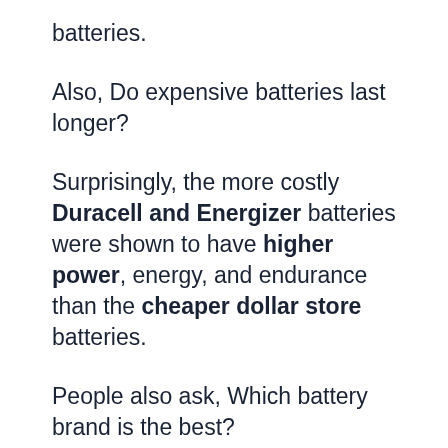batteries.
Also, Do expensive batteries last longer?
Surprisingly, the more costly Duracell and Energizer batteries were shown to have higher power, energy, and endurance than the cheaper dollar store batteries.
People also ask, Which battery brand is the best?
Best Electronics and Gadgets Battery Brands in 2021 Duracell Batteries are the